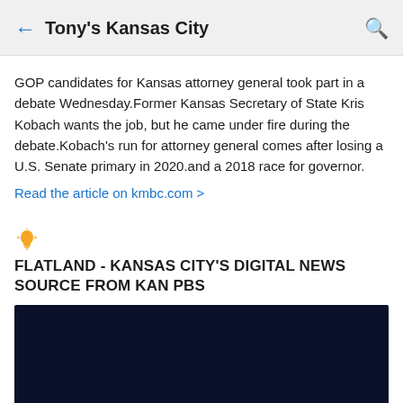Tony's Kansas City
GOP candidates for Kansas attorney general took part in a debate Wednesday.Former Kansas Secretary of State Kris Kobach wants the job, but he came under fire during the debate.Kobach's run for attorney general comes after losing a U.S. Senate primary in 2020.and a 2018 race for governor.
Read the article on kmbc.com >
FLATLAND - KANSAS CITY'S DIGITAL NEWS SOURCE FROM KAN PBS
[Figure (photo): Dark navy/black image block, appears to be a news article thumbnail or video preview with very dark background]